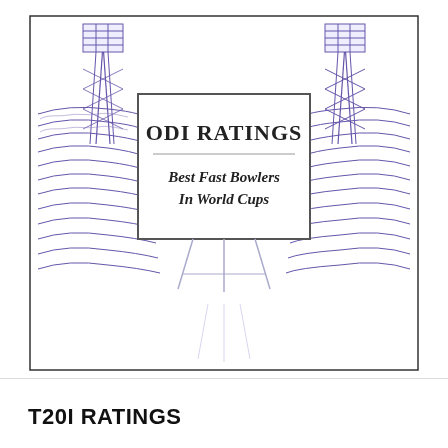[Figure (illustration): Cricket stadium illustration with floodlights on either side, crowded stands, and a central scoreboard/easel showing 'ODI RATINGS' and 'Best Fast Bowlers In World Cups'. The illustration is in purple/violet line-art style.]
T20I RATINGS